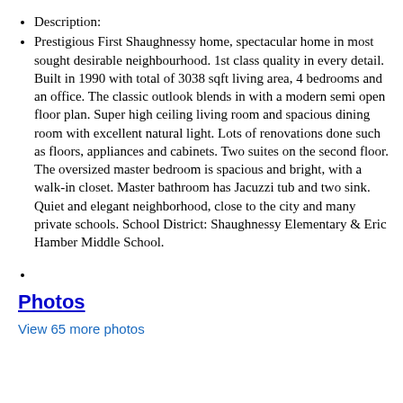Description:
Prestigious First Shaughnessy home, spectacular home in most sought desirable neighbourhood. 1st class quality in every detail. Built in 1990 with total of 3038 sqft living area, 4 bedrooms and an office. The classic outlook blends in with a modern semi open floor plan. Super high ceiling living room and spacious dining room with excellent natural light. Lots of renovations done such as floors, appliances and cabinets. Two suites on the second floor. The oversized master bedroom is spacious and bright, with a walk-in closet. Master bathroom has Jacuzzi tub and two sink. Quiet and elegant neighborhood, close to the city and many private schools. School District: Shaughnessy Elementary & Eric Hamber Middle School.
Photos
View 65 more photos